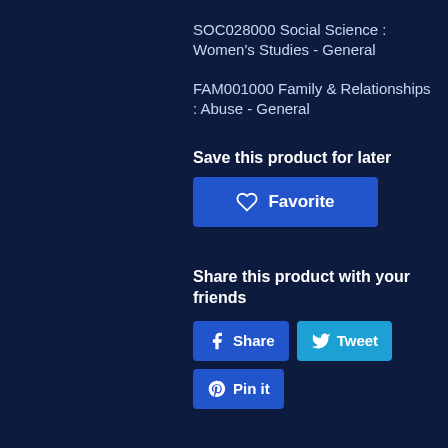SOC028000 Social Science : Women's Studies - General
FAM001000 Family & Relationships : Abuse - General
Save this product for later
Favorite
Share this product with your friends
Share
Tweet
Pin it